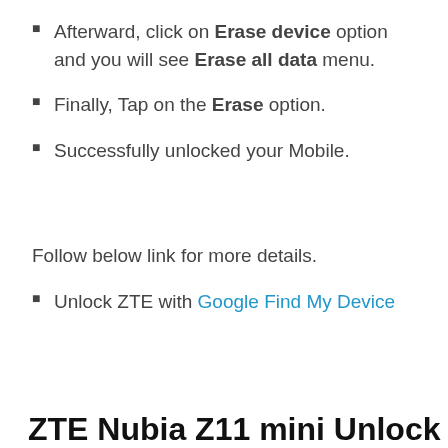Afterward, click on Erase device option and you will see Erase all data menu.
Finally, Tap on the Erase option.
Successfully unlocked your Mobile.
Follow below link for more details.
Unlock ZTE with Google Find My Device
ZTE Nubia Z11 mini Unlock